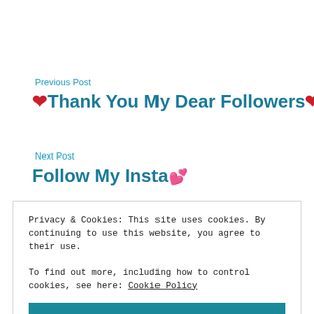Previous Post
❤Thank You My Dear Followers❤
Next Post
Follow My Insta💕
Privacy & Cookies: This site uses cookies. By continuing to use this website, you agree to their use.
To find out more, including how to control cookies, see here: Cookie Policy
Close and accept